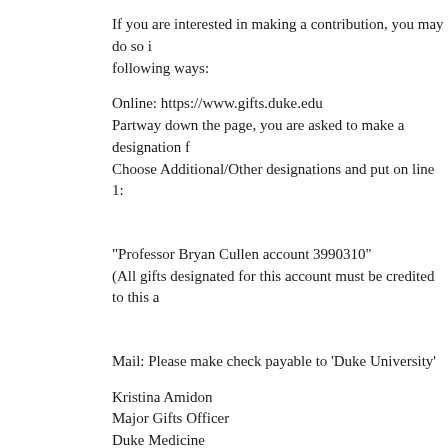If you are interested in making a contribution, you may do so in the following ways:
Online: https://www.gifts.duke.edu
Partway down the page, you are asked to make a designation f...
Choose Additional/Other designations and put on line 1:
"Professor Bryan Cullen account 3990310"
(All gifts designated for this account must be credited to this a...
Mail: Please make check payable to 'Duke University'
Kristina Amidon
Major Gifts Officer
Duke Medicine
512 S. Mangum Street, Suite 400
Durham, NC 27701
Phone: (919)385-3155
In the memo line of the check, please write: Professor Bryan C...
If have any questions, please contact:
Kristina Amidon
Major Gifts Officer
Duke Medicine